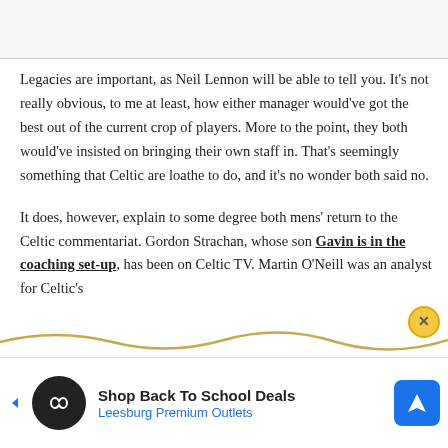Legacies are important, as Neil Lennon will be able to tell you. It's not really obvious, to me at least, how either manager would've got the best out of the current crop of players. More to the point, they both would've insisted on bringing their own staff in. That's seemingly something that Celtic are loathe to do, and it's no wonder both said no.
It does, however, explain to some degree both mens' return to the Celtic commentariat. Gordon Strachan, whose son Gavin is in the coaching set-up, has been on Celtic TV. Martin O'Neill was an analyst for Celtic's
[Figure (other): Advertisement banner: Shop Back To School Deals - Leesburg Premium Outlets, with infinity loop icon and navigation arrow icon]